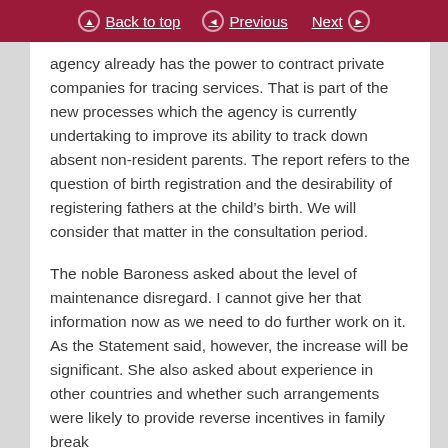Back to top | Previous | Next
agency already has the power to contract private companies for tracing services. That is part of the new processes which the agency is currently undertaking to improve its ability to track down absent non-resident parents. The report refers to the question of birth registration and the desirability of registering fathers at the child's birth. We will consider that matter in the consultation period.
The noble Baroness asked about the level of maintenance disregard. I cannot give her that information now as we need to do further work on it. As the Statement said, however, the increase will be significant. She also asked about experience in other countries and whether such arrangements were likely to provide reverse incentives in family break